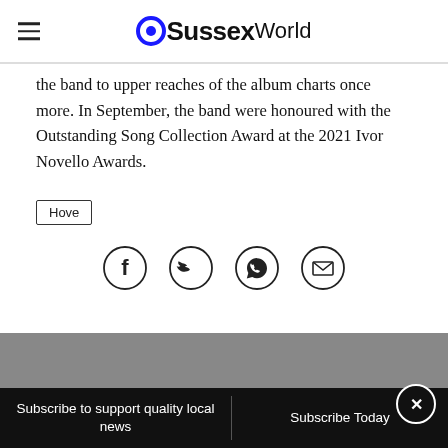Sussex World
the band to upper reaches of the album charts once more. In September, the band were honoured with the Outstanding Song Collection Award at the 2021 Ivor Novello Awards.
Hove
[Figure (other): Social sharing icons: Facebook, Twitter, WhatsApp, Email]
Subscribe to support quality local news | Subscribe Today